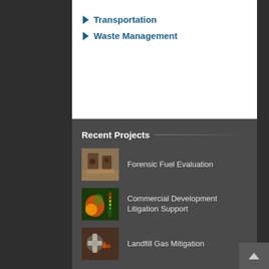Transportation
Waste Management
Recent Projects
[Figure (photo): Photo of fuel storage or excavation site with fuel drums and disturbed soil]
Forensic Fuel Evaluation
[Figure (photo): Thermal/heat map image showing a commercial development site with color gradient legend]
Commercial Development Litigation Support
[Figure (photo): Photo of landfill gas mitigation equipment including pipes and valves]
Landfill Gas Mitigation